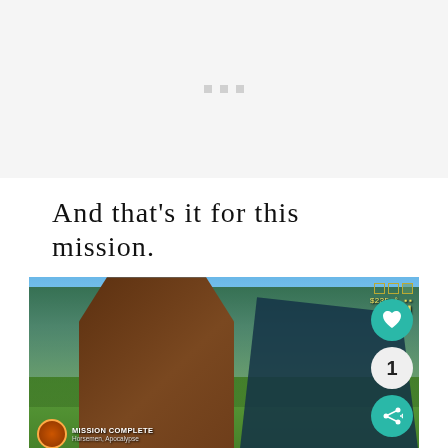[Figure (other): Gray loading/placeholder area with three small gray dots in the center]
And that's it for this mission.
[Figure (screenshot): Video game screenshot showing a character from behind in a western-style setting with trees and tents. HUD shows Mission Complete badge, money amounts $235 and $1212, and interactive buttons (heart, number 1, share).]